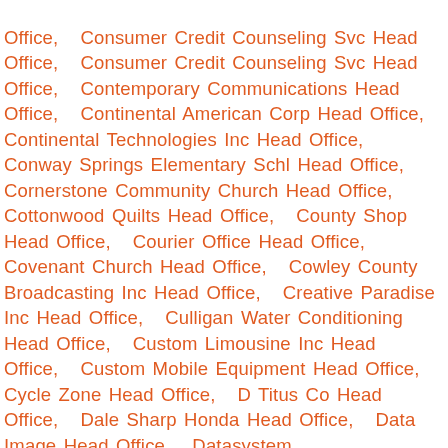Office,   Consumer Credit Counseling Svc Head Office,   Consumer Credit Counseling Svc Head Office,   Contemporary Communications Head Office,   Continental American Corp Head Office,   Continental Technologies Inc Head Office,   Conway Springs Elementary Schl Head Office,   Cornerstone Community Church Head Office,   Cottonwood Quilts Head Office,   County Shop Head Office,   Courier Office Head Office,   Covenant Church Head Office,   Cowley County Broadcasting Inc Head Office,   Creative Paradise Inc Head Office,   Culligan Water Conditioning Head Office,   Custom Limousine Inc Head Office,   Custom Mobile Equipment Head Office,   Cycle Zone Head Office,   D Titus Co Head Office,   Dale Sharp Honda Head Office,   Data Image Head Office,   Datasystem